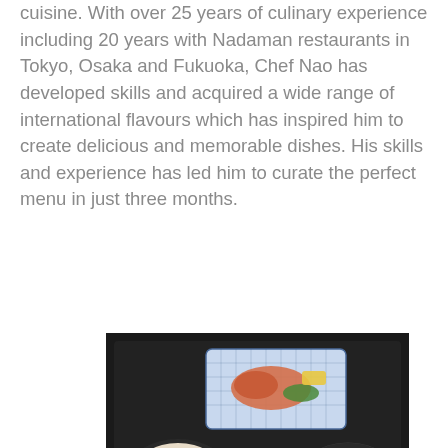cuisine. With over 25 years of culinary experience including 20 years with Nadaman restaurants in Tokyo, Osaka and Fukuoka, Chef Nao has developed skills and acquired a wide range of international flavours which has inspired him to create delicious and memorable dishes. His skills and experience has led him to curate the perfect menu in just three months.
[Figure (photo): Japanese meal set on a dark tray: a blue-patterned rectangular plate with grilled salmon and vegetables, a black bowl with mixed rice, a gold round dish with yellow and pink pickled items, and a black bowl with white and green garnishes.]
[Figure (photo): Partial view of a Japanese meal set showing two dishes: a white square plate with a salmon/tomato dish and a black bowl with colorful vegetables.]